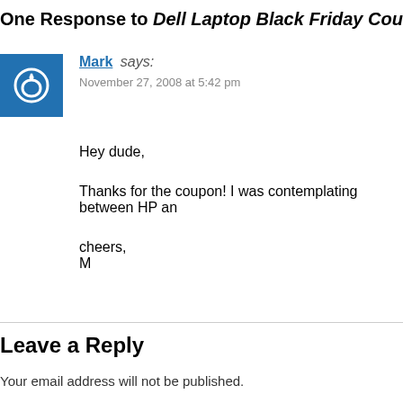One Response to Dell Laptop Black Friday Cou
Mark says:
November 27, 2008 at 5:42 pm
Hey dude,

Thanks for the coupon! I was contemplating between HP an

cheers,
M
Leave a Reply
Your email address will not be published.